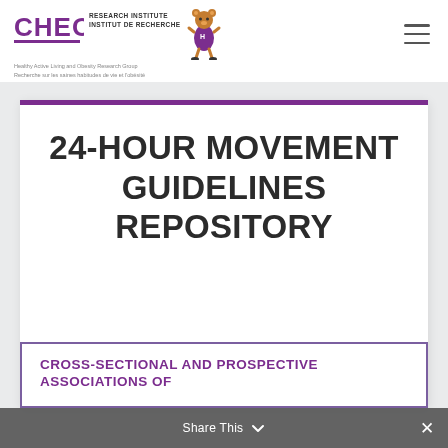[Figure (logo): CHEO Research Institute / Institut de Recherche logo with bear mascot. Purple CHEO text with horizontal bar, institute name in black, subtitle 'Healthy Active Living and Obesity Research Group / Recherche sur les saines habitudes de vie et l'obésité', and animated bear mascot figure.]
24-HOUR MOVEMENT GUIDELINES REPOSITORY
CROSS-SECTIONAL AND PROSPECTIVE ASSOCIATIONS OF